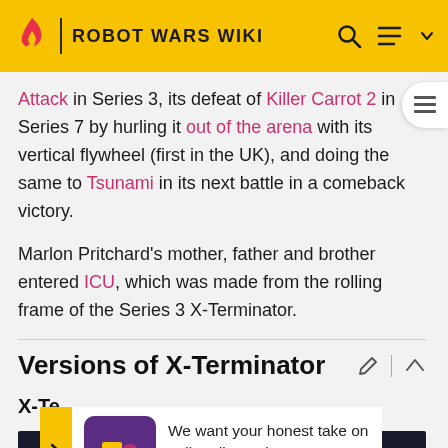ROBOT WARS WIKI
Attack in Series 3, its defeat of Killer Carrot 2 in Series 7 by hurling it out of the arena with its vertical flywheel (first in the UK), and doing the same to Tsunami in its next battle in a comeback victory.
Marlon Pritchard's mother, father and brother entered ICU, which was made from the rolling frame of the Series 3 X-Terminator.
Versions of X-Terminator
X-Te
We want your honest take on online discussions
SURVEY: ONLINE FORUMS